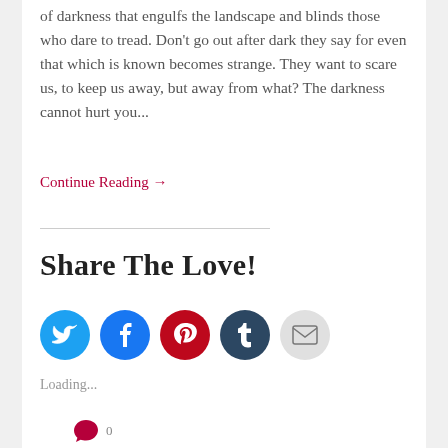of darkness that engulfs the landscape and blinds those who dare to tread. Don't go out after dark they say for even that which is known becomes strange. They want to scare us, to keep us away, but away from what? The darkness cannot hurt you...
Continue Reading →
Share The Love!
[Figure (infographic): Social sharing icons: Twitter (blue), Facebook (blue), Pinterest (red), Tumblr (dark navy), Email (grey)]
Loading...
[Figure (other): Comment bubble icon in pink/red with a count of 0]